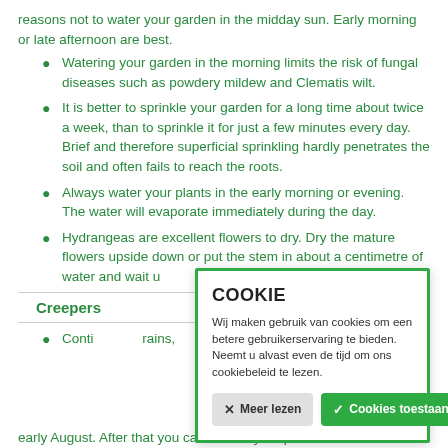reasons not to water your garden in the midday sun. Early morning or late afternoon are best.
Watering your garden in the morning limits the risk of fungal diseases such as powdery mildew and Clematis wilt.
It is better to sprinkle your garden for a long time about twice a week, than to sprinkle it for just a few minutes every day. Brief and therefore superficial sprinkling hardly penetrates the soil and often fails to reach the roots.
Always water your plants in the early morning or evening. The water will evaporate immediately during the day.
Hydrangeas are excellent flowers to dry. Dry the mature flowers upside down or put the stem in about a centimetre of water and wait u
Creepers
Conti rains, early August. After that you can reduce your plant food in
[Figure (screenshot): Cookie consent modal dialog with green border. Title: COOKIE. Text in Dutch: 'Wij maken gebruik van cookies om een betere gebruikerservaring te bieden. Neemt u alvast even de tijd om ons cookiebeleid te lezen.' Two buttons: 'Meer lezen' (grey) and 'Cookies toestaan' (green).]